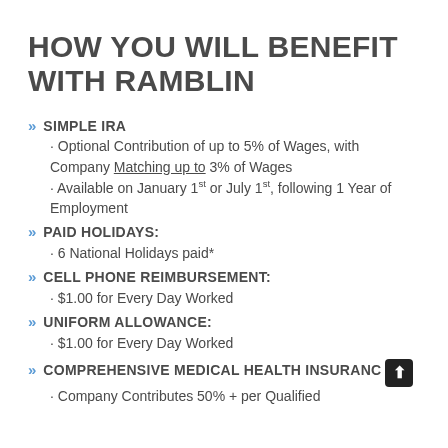HOW YOU WILL BENEFIT WITH RAMBLIN
SIMPLE IRA
• Optional Contribution of up to 5% of Wages, with Company Matching up to 3% of Wages
• Available on January 1st or July 1st, following 1 Year of Employment
PAID HOLIDAYS:
• 6 National Holidays paid*
CELL PHONE REIMBURSEMENT:
• $1.00 for Every Day Worked
UNIFORM ALLOWANCE:
• $1.00 for Every Day Worked
COMPREHENSIVE MEDICAL HEALTH INSURANCE
• Company Contributes 50% + per Qualified